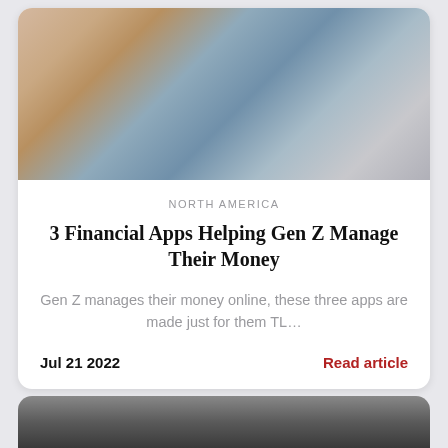[Figure (photo): Person lying down using a smartphone, with a laptop showing financial charts visible nearby]
NORTH AMERICA
3 Financial Apps Helping Gen Z Manage Their Money
Gen Z manages their money online, these three apps are made just for them TL…
Jul 21 2022
Read article
[Figure (photo): Partial view of second article card with a person wearing a striped shirt]